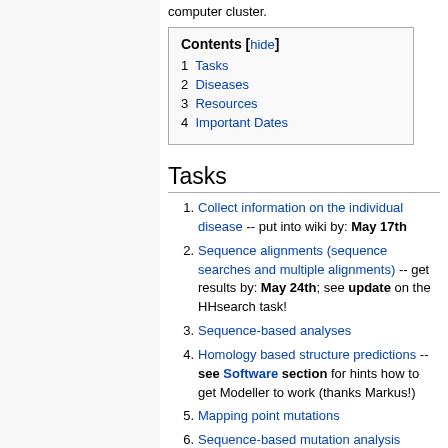computer cluster.
| # | Contents |
| --- | --- |
| 1 | Tasks |
| 2 | Diseases |
| 3 | Resources |
| 4 | Important Dates |
Tasks
Collect information on the individual disease -- put into wiki by: May 17th
Sequence alignments (sequence searches and multiple alignments) -- get results by: May 24th; see update on the HHsearch task!
Sequence-based analyses
Homology based structure predictions -- see Software section for hints how to get Modeller to work (thanks Markus!)
Mapping point mutations
Sequence-based mutation analysis
Structure-based mutation analysis
Molecular Dynamics Simulations